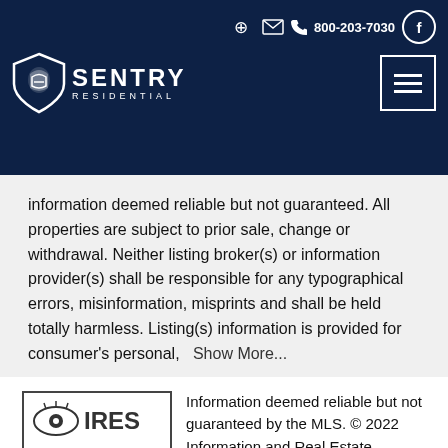[Figure (logo): Sentry Residential logo and navigation header on dark navy background with phone number 800-203-7030 and social icons]
information deemed reliable but not guaranteed. All properties are subject to prior sale, change or withdrawal. Neither listing broker(s) or information provider(s) shall be responsible for any typographical errors, misinformation, misprints and shall be held totally harmless. Listing(s) information is provided for consumer's personal,   Show More...
[Figure (logo): IRES logo — eye graphic with IRES text]
Information deemed reliable but not guaranteed by the MLS. © 2022 Information and Real Estate Services, LLC. Information source: Information and Real Estate Services, LLC. Provided for limited non-commercial use only under IRES Rules. © Copyright IRES. The information being